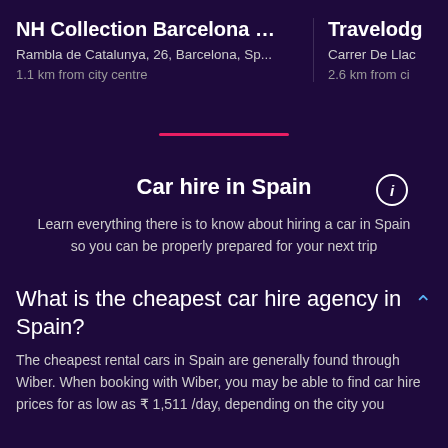NH Collection Barcelona Gr...
Rambla de Catalunya, 26, Barcelona, Sp...
1.1 km from city centre
Travelodg
Carrer De Llac
2.6 km from ci
[Figure (other): Pink horizontal divider line]
Car hire in Spain
Learn everything there is to know about hiring a car in Spain so you can be properly prepared for your next trip
What is the cheapest car hire agency in Spain?
The cheapest rental cars in Spain are generally found through Wiber. When booking with Wiber, you may be able to find car hire prices for as low as ₹ 1,511 /day, depending on the city you